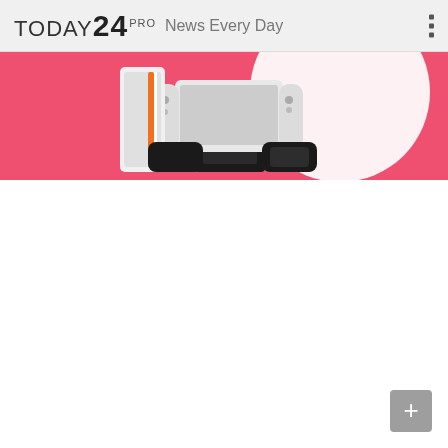TODAY24 PRO   News Every Day
[Figure (photo): A pink/coral background banner advertisement showing Nintendo Switch OLED console with white Joy-Con controllers in a grip accessory, along with a decorative white circle. Partial visibility at top of the image.]